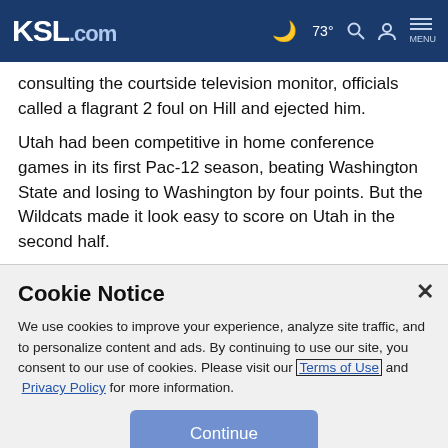KSL.com | 73° | Search | Account | MENU
consulting the courtside television monitor, officials called a flagrant 2 foul on Hill and ejected him.
Utah had been competitive in home conference games in its first Pac-12 season, beating Washington State and losing to Washington by four points. But the Wildcats made it look easy to score on Utah in the second half.
Cookie Notice
We use cookies to improve your experience, analyze site traffic, and to personalize content and ads. By continuing to use our site, you consent to our use of cookies. Please visit our Terms of Use and  Privacy Policy for more information.
Continue